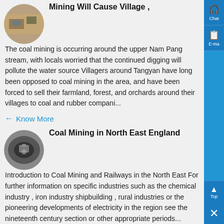Mining Will Cause Village ,
The coal mining is occurring around the upper Nam Pang stream, with locals worried that the continued digging will pollute the water source Villagers around Tangyan have long been opposed to coal mining in the area, and have been forced to sell their farmland, forest, and orchards around their villages to coal and rubber compani...
Know More
Coal Mining in North East England
Introduction to Coal Mining and Railways in the North East For further information on specific industries such as the chemical industry , iron industry shipbuilding , rural industries or the pioneering developments of electricity in the region see the nineteenth century section or other appropriate periods...